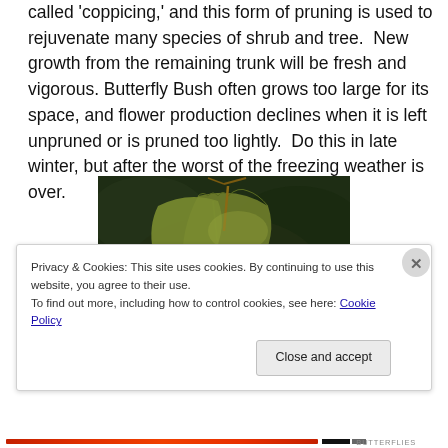called 'coppicing,' and this form of pruning is used to rejuvenate many species of shrub and tree. New growth from the remaining trunk will be fresh and vigorous. Butterfly Bush often grows too large for its space, and flower production declines when it is left unpruned or is pruned too lightly. Do this in late winter, but after the worst of the freezing weather is over.
[Figure (photo): Photograph of a plant branch with leaves and small yellow flowers against a dark background, showing a butterfly bush or similar plant in a garden setting.]
Privacy & Cookies: This site uses cookies. By continuing to use this website, you agree to their use.
To find out more, including how to control cookies, see here: Cookie Policy
Close and accept
BUTTERFLIES